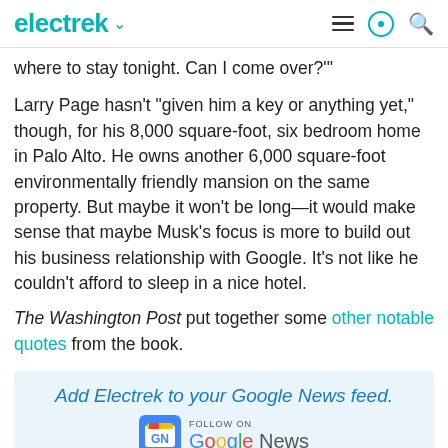electrek
where to stay tonight. Can I come over?"
Larry Page hasn't "given him a key or anything yet," though, for his 8,000 square-foot, six bedroom home in Palo Alto. He owns another 6,000 square-foot environmentally friendly mansion on the same property. But maybe it won't be long—it would make sense that maybe Musk's focus is more to build out his business relationship with Google. It's not like he couldn't afford to sleep in a nice hotel.
The Washington Post put together some other notable quotes from the book.
[Figure (infographic): Add Electrek to your Google News feed. Follow on Google News badge.]
FTC: We use income earning auto affiliate links. More.